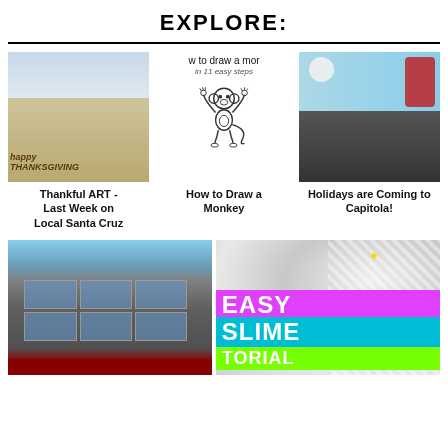EXPLORE:
[Figure (photo): Beach photo with 'Happy Thanksgiving' written in sand]
[Figure (illustration): How to draw a monkey in 11 easy steps - line drawing of a monkey]
[Figure (photo): Santa Claus in Hawaiian shirt waving at beach]
Thankful ART - Last Week on Local Santa Cruz
How to Draw a Monkey
Holidays are Coming to Capitola!
[Figure (photo): Photo of a building exterior - appears to be an art center]
[Figure (photo): Easy Slime Tutorial graphic with colorful text on white swirled background]